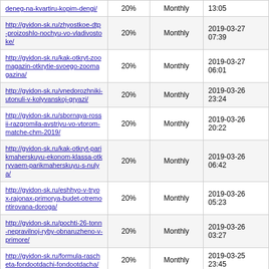| http://gvidon-sk.ru/deneg-na-kvartiru-kopim-dengi/ | 20% | Monthly | 13:05 |
| http://gvidon-sk.ru/zhyostkoe-dtp-proizoshlo-nochyu-vo-vladivostoke/ | 20% | Monthly | 2019-03-27 07:39 |
| http://gvidon-sk.ru/kak-otkryt-zoomagazin-otkrytie-svoego-zoomagazina/ | 20% | Monthly | 2019-03-27 06:01 |
| http://gvidon-sk.ru/vnedorozhniki-utonuli-v-kolyvanskoj-gryazi/ | 20% | Monthly | 2019-03-26 23:24 |
| http://gvidon-sk.ru/sbornaya-rossii-razgromila-avstriyu-vo-vtorom-matche-chm-2019/ | 20% | Monthly | 2019-03-26 20:22 |
| http://gvidon-sk.ru/kak-otkryt-parikmaherskuyu-ekonom-klassa-otkryvaem-parikmaherskuyu-s-nulya/ | 20% | Monthly | 2019-03-26 06:42 |
| http://gvidon-sk.ru/eshhyo-v-tryox-rajonax-primorya-budet-otremontirovana-doroga/ | 20% | Monthly | 2019-03-26 05:23 |
| http://gvidon-sk.ru/pochti-26-tonn-nepravilnoj-ryby-obnaruzheno-v-primore/ | 20% | Monthly | 2019-03-26 03:27 |
| http://gvidon-sk.ru/formula-rascheta-fondootdachi-fondootdacha/ | 20% | Monthly | 2019-03-25 23:45 |
| http://gvidon-sk.ru/mobilnyj-internet-mozhet-poyavitsya-v-samyx-nedostupnyx-rajonax-rossii/ | 20% | Monthly | 2019-03-25 18:31 |
| http://gvidon-sk.ru/gigantskimi-zarplatami-vymanivayut-... | 20% | Monthly | 2019-03-25 17:09 |